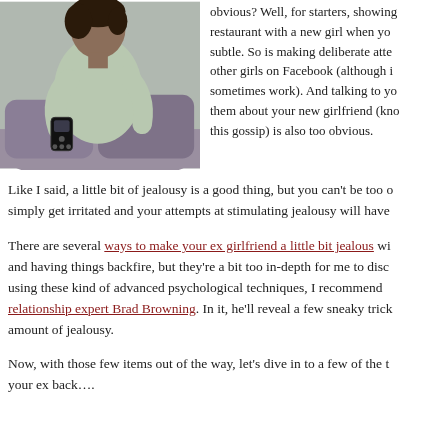[Figure (photo): Person sitting on a couch holding a mobile phone/remote, wearing a light green long-sleeve top]
obvious? Well, for starters, showing up at a restaurant with a new girl when you… subtle. So is making deliberate attempts… other girls on Facebook (although it… sometimes work). And talking to yo… them about your new girlfriend (kno… this gossip) is also too obvious.
Like I said, a little bit of jealousy is a good thing, but you can't be too o… simply get irritated and your attempts at stimulating jealousy will have…
There are several ways to make your ex girlfriend a little bit jealous wi… and having things backfire, but they're a bit too in-depth for me to disc… using these kind of advanced psychological techniques, I recommend… relationship expert Brad Browning. In it, he'll reveal a few sneaky trick… amount of jealousy.
Now, with those few items out of the way, let's dive in to a few of the th… your ex back….